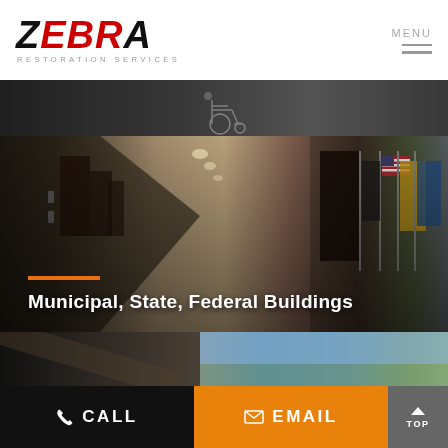[Figure (logo): Zebra Restoration Services logo — bold italic ZEBRA text in black/red with RESTORATION SERVICES subtitle]
[Figure (photo): Menu icon with MENU label and three horizontal lines]
[Figure (photo): Partial image strip showing wheelchair in a corridor, dark tones]
[Figure (photo): Hero image of a long government building corridor with American and other flags, dark wood doors]
Municipal, State, Federal Buildings
[Figure (photo): Partial bottom image strip showing building interior and exterior]
CALL
EMAIL
TOP